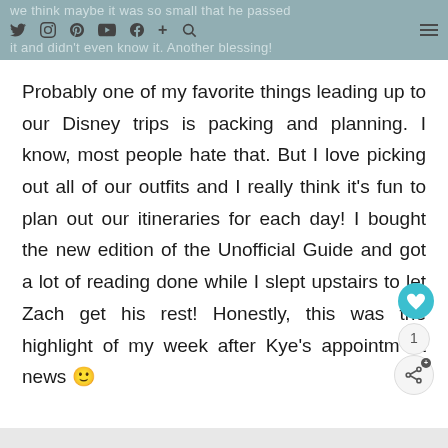we think maybe it was so small that he passed it and didn't even know it. Another blessing!
Probably one of my favorite things leading up to our Disney trips is packing and planning. I know, most people hate that. But I love picking out all of our outfits and I really think it's fun to plan out our itineraries for each day! I bought the new edition of the Unofficial Guide and got a lot of reading done while I slept upstairs to let Zach get his rest! Honestly, this was the highlight of my week after Kye's appointment news 🙂